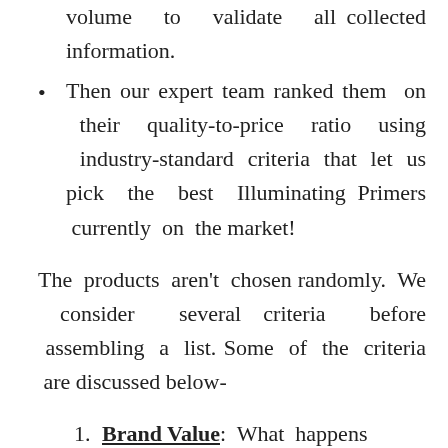volume to validate all collected information.
Then our expert team ranked them on their quality-to-price ratio using industry-standard criteria that let us pick the best Illuminating Primers currently on the market!
The products aren't chosen randomly. We consider several criteria before assembling a list. Some of the criteria are discussed below-
Brand Value: What happens